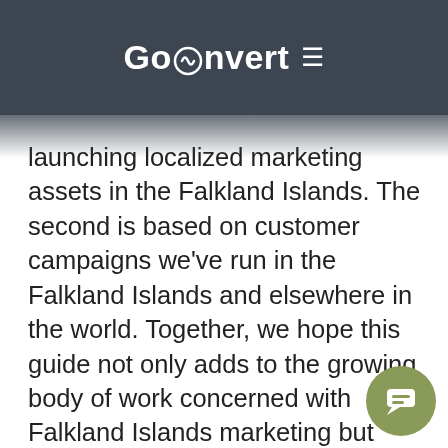GoConvert
launching localized marketing assets in the Falkland Islands. The second is based on customer campaigns we've run in the Falkland Islands and elsewhere in the world. Together, we hope this guide not only adds to the growing body of work concerned with Falkland Islands marketing but stands as the clearest and most comprehensive Falkland Islands marketing guide available.
[Figure (illustration): Puzzle piece icon in dark grey/charcoal color]
Learn how GoConvert helps customers launch marketing assets, conduct paid...